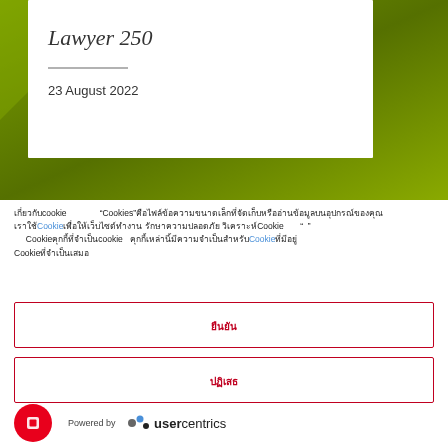[Figure (illustration): Green gradient background banner with white card overlay showing 'Lawyer 250' italic title, horizontal rule, and date '23 August 2022']
Lawyer 250
23 August 2022
เกี่ยวกับcookie   "Cookies"คือไฟล์ข้อความขนาดเล็กที่จัดเก็บหรืออ่านข้อมูลบนอุปกรณ์ของคุณ เราใช้Cookieเพื่อให้เว็บไซต์ทำงาน รักษาความปลอดภัย วิเคราะห์Cookie " " Cookie คุกกี้ที่จำเป็นcookie  คุกกี้เหล่านี้มีความจำเป็นสำหรับCookieที่มีอยู่ Cookieที่จำเป็นเสมอ
ยืนยัน
ปฏิเสธ
Powered by usercentrics